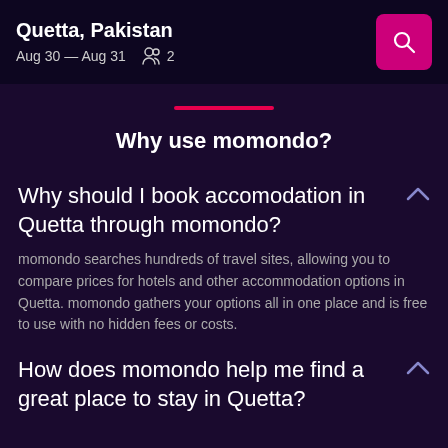Quetta, Pakistan  Aug 30 — Aug 31  2
Why use momondo?
Why should I book accomodation in Quetta through momondo?
momondo searches hundreds of travel sites, allowing you to compare prices for hotels and other accommodation options in Quetta. momondo gathers your options all in one place and is free to use with no hidden fees or costs.
How does momondo help me find a great place to stay in Quetta?